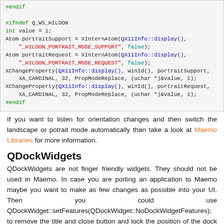#endif
#ifndef Q_WS_HILDON
int value = 1;
Atom portraitSupport = XInternAtom(QX11Info::display(), "_HILDON_PORTRAIT_MODE_SUPPORT", false);
Atom portraitRequest = XInternAtom(QX11Info::display(), "_HILDON_PORTRAIT_MODE_REQUEST", false);
XChangeProperty(QX11Info::display(), winId(), portraitSupport, XA_CARDINAL, 32, PropModeReplace, (uchar *)&value, 1);
XChangeProperty(QX11Info::display(), winId(), portraitRequest, XA_CARDINAL, 32, PropModeReplace, (uchar *)&value, 1);
#endif
If you want to listen for orientation changes and then switch the landscape or potrait mode automatically than take a look at Maemo Libraries for more information.
QDockWidgets
QDockWidgets are not finger friendly widgets. They should not be used in Maemo. In case you are porting an application to Maemo maybe you want to make as few changes as possible into your UI. Then you could use QDockWidget::setFeatures(QDockWidget::NoDockWidgetFeatures); to remove the title and close button and lock the position of the dock widget.
QPrint* and QSystemTray support missing
Printing (QPrint*) and System tray support is missing in current Qt 4 maemo4 packages. Since incompatibility with KDE and other Qt applications